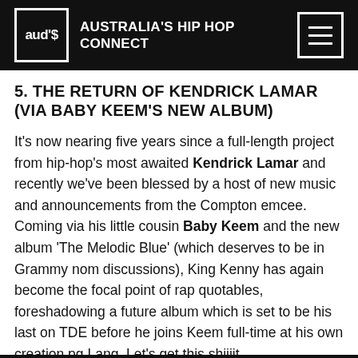aud's — AUSTRALIA'S HIP HOP CONNECT
5. THE RETURN OF KENDRICK LAMAR (VIA BABY KEEM'S NEW ALBUM)
It's now nearing five years since a full-length project from hip-hop's most awaited Kendrick Lamar and recently we've been blessed by a host of new music and announcements from the Compton emcee. Coming via his little cousin Baby Keem and the new album 'The Melodic Blue' (which deserves to be in Grammy nom discussions), King Kenny has again become the focal point of rap quotables, foreshadowing a future album which is set to be his last on TDE before he joins Keem full-time at his own creation pg Lang. Let's get this shiiiit.